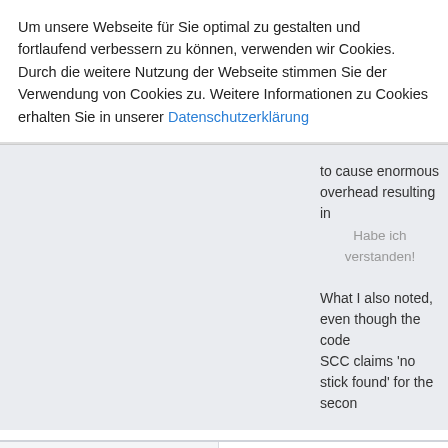Um unsere Webseite für Sie optimal zu gestalten und fortlaufend verbessern zu können, verwenden wir Cookies. Durch die weitere Nutzung der Webseite stimmen Sie der Verwendung von Cookies zu. Weitere Informationen zu Cookies erhalten Sie in unserer Datenschutzerklärung
to cause enormous overhead resulting in
Habe ich verstanden!
What I also noted, even though the code
SCC claims 'no stick found' for the secon
Sundtek
Administrator
Hero Member
Beiträge: 8324
Re:Installation on a Dreambox settopbox
« Antwort #74 am: März 14, 2015, 03:51:35 Nachmittag »
Which Settopbox Image do you use?
And did you try another Settopbox image
According to the serial number seems like March / 5:04pm without any issues
« Letzte Änderung: März 14, 2015, 03:54:46 Nac